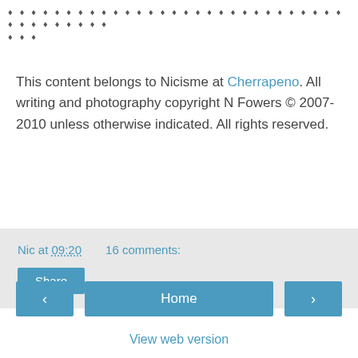[Figure (other): Row of small diamond/rhombus decorative symbols in dark gray]
This content belongs to Nicisme at Cherrapeno. All writing and photography copyright N Fowers © 2007-2010 unless otherwise indicated. All rights reserved.
Nic at 09:20   16 comments:
Share
‹
Home
›
View web version